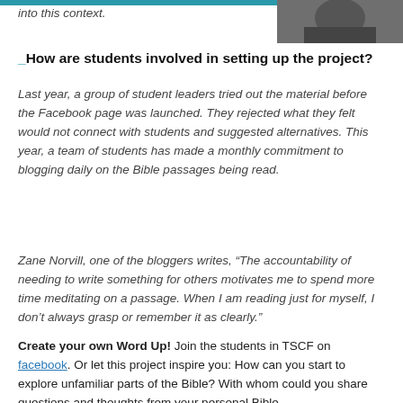into this context.
[Figure (photo): Partial black and white photo in top right corner]
_How are students involved in setting up the project?
Last year, a group of student leaders tried out the material before the Facebook page was launched. They rejected what they felt would not connect with students and suggested alternatives. This year, a team of students has made a monthly commitment to blogging daily on the Bible passages being read.
Zane Norvill, one of the bloggers writes, “The accountability of needing to write something for others motivates me to spend more time meditating on a passage. When I am reading just for myself, I don’t always grasp or remember it as clearly.”
Create your own Word Up! Join the students in TSCF on facebook. Or let this project inspire you: How can you start to explore unfamiliar parts of the Bible? With whom could you share questions and thoughts from your personal Bible